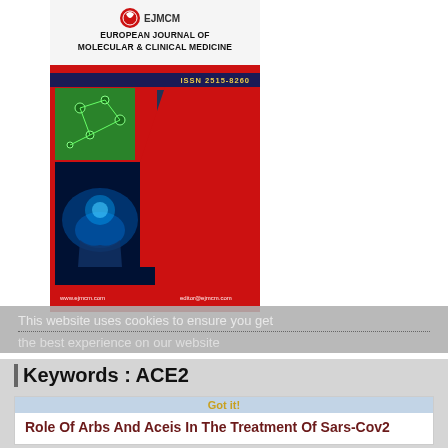[Figure (illustration): Cover of European Journal of Molecular & Clinical Medicine (EJMCM) showing a red themed journal cover with ISSN 2515-8260, featuring molecular biology images, brain scan, and human anatomy illustrations arranged in a hexagonal pattern.]
This website uses cookies to ensure you get the best experience on our website
Keywords : ACE2
Role Of Arbs And Aceis In The Treatment Of Sars-Cov2
Saif M Hassan; Ashwaq Najemaldeen Abbas; Manar H.